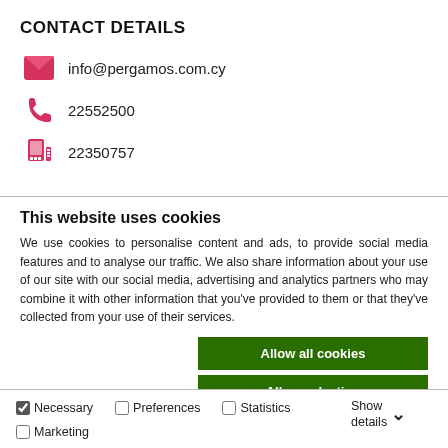CONTACT DETAILS
info@pergamos.com.cy
22552500
22350757
This website uses cookies
We use cookies to personalise content and ads, to provide social media features and to analyse our traffic. We also share information about your use of our site with our social media, advertising and analytics partners who may combine it with other information that you've provided to them or that they've collected from your use of their services.
Allow all cookies
Allow selection
Use necessary cookies only
Necessary  Preferences  Statistics  Marketing  Show details